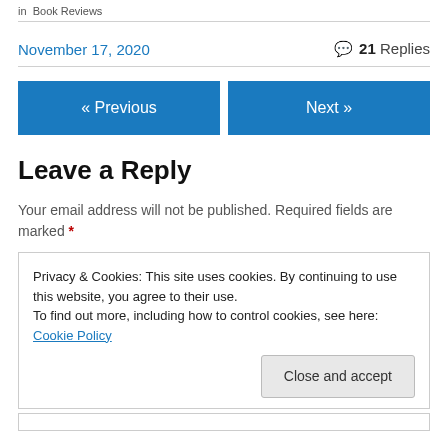in  Book Reviews
November 17, 2020    💬 21 Replies
« Previous    Next »
Leave a Reply
Your email address will not be published. Required fields are marked *
Privacy & Cookies: This site uses cookies. By continuing to use this website, you agree to their use.
To find out more, including how to control cookies, see here: Cookie Policy
Close and accept